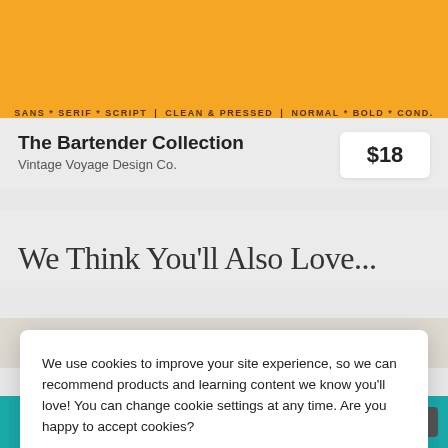[Figure (screenshot): Top orange banner with tagline: SANS * SERIF * SCRIPT | CLEAN & PRESSED | NORMAL * BOLD * COND.]
The Bartender Collection
Vintage Voyage Design Co.
$18
We Think You'll Also Love...
We use cookies to improve your site experience, so we can recommend products and learning content we know you'll love! You can change cookie settings at any time. Are you happy to accept cookies?
Manage Cookie Preferences
Yes I'm Happy